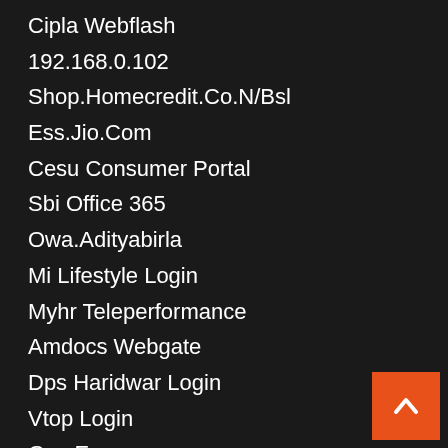Cipla Webflash
192.168.0.102
Shop.Homecredit.Co.N/Bsl
Ess.Jio.Com
Cesu Consumer Portal
Sbi Office 365
Owa.Adityabirla
Mi Lifestyle Login
Myhr Teleperformance
Amdocs Webgate
Dps Haridwar Login
Vtop Login
Gec Ecap
Allsec Wellsfargo
Act Portal Login
Hrworkways
Mdms Kerala
Tnbmis